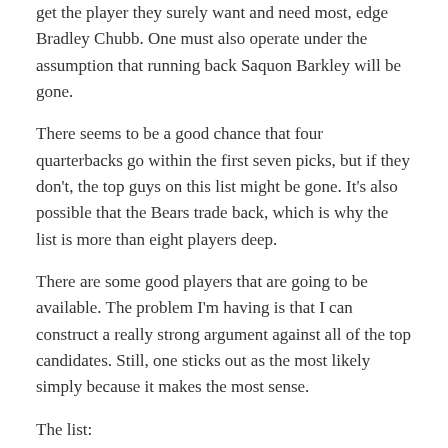get the player they surely want and need most, edge Bradley Chubb. One must also operate under the assumption that running back Saquon Barkley will be gone.
There seems to be a good chance that four quarterbacks go within the first seven picks, but if they don't, the top guys on this list might be gone. It's also possible that the Bears trade back, which is why the list is more than eight players deep.
There are some good players that are going to be available. The problem I'm having is that I can construct a really strong argument against all of the top candidates. Still, one sticks out as the most likely simply because it makes the most sense.
The list:
Read More …
Tagged: 2018 NFL Draft, Denzel Ward, Derwin James,